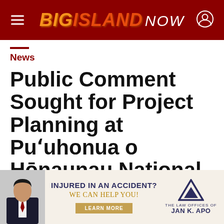BIG ISLAND NOW
News
Public Comment Sought for Project Planning at Puʻuhonua o Hōnaunau National
[Figure (infographic): Advertisement for The Law Offices of Jan K. Apo – 'Injured in an Accident? We Can Help You!' with photo of attorney and Learn More button.]